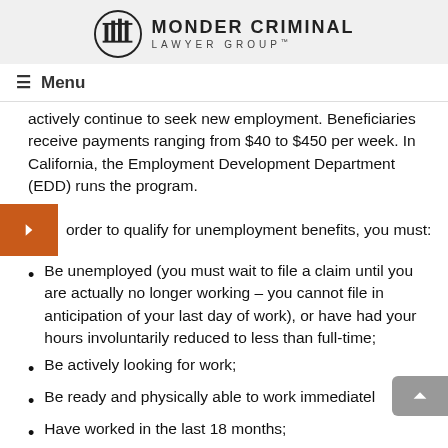MONDER CRIMINAL LAWYER GROUP
Menu
actively continue to seek new employment. Beneficiaries receive payments ranging from $40 to $450 per week. In California, the Employment Development Department (EDD) runs the program.
In order to qualify for unemployment benefits, you must:
Be unemployed (you must wait to file a claim until you are actually no longer working – you cannot file in anticipation of your last day of work), or have had your hours involuntarily reduced to less than full-time;
Be actively looking for work;
Be ready and physically able to work immediately;
Have worked in the last 18 months;